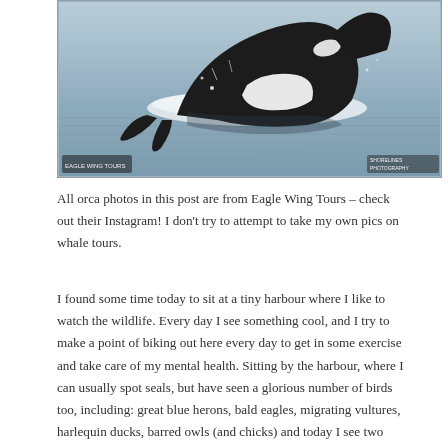[Figure (photo): An orca whale breaching out of calm blue-grey water, showing its distinctive black and white markings. Water splashes around it. Small logos visible in bottom-left and bottom-right corners of the photo.]
All orca photos in this post are from Eagle Wing Tours – check out their Instagram! I don't try to attempt to take my own pics on whale tours.
I found some time today to sit at a tiny harbour where I like to watch the wildlife. Every day I see something cool, and I try to make a point of biking out here every day to get in some exercise and take care of my mental health. Sitting by the harbour, where I can usually spot seals, but have seen a glorious number of birds too, including: great blue herons, bald eagles, migrating vultures, harlequin ducks, barred owls (and chicks) and today I see two